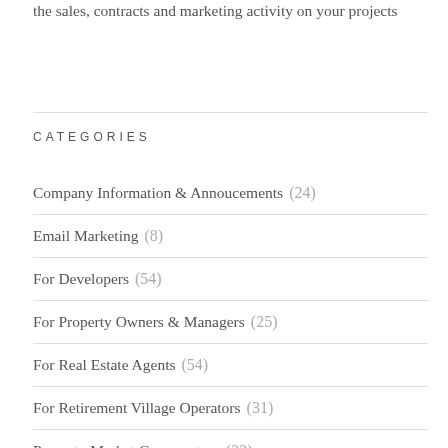the sales, contracts and marketing activity on your projects
CATEGORIES
Company Information & Annoucements (24)
Email Marketing (8)
For Developers (54)
For Property Owners & Managers (25)
For Real Estate Agents (54)
For Retirement Village Operators (31)
Property Market Commentary (32)
Property Portals (11)